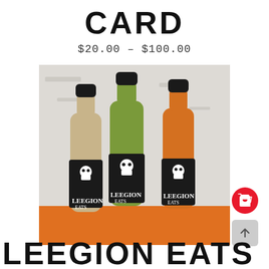CARD
$20.00 – $100.00
[Figure (photo): Three bottles of Leegion Eats hot sauce with black labels featuring a skull logo, containing brown/tan, green, and orange hot sauces, arranged on an orange surface against a white textured wall background.]
LEEGION EATS